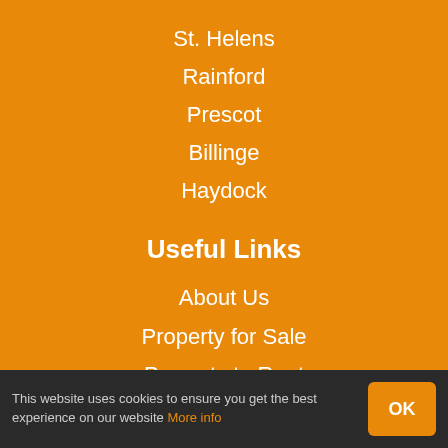St. Helens
Rainford
Prescot
Billinge
Haydock
Useful Links
About Us
Property for Sale
Property to Rent
Landlord Fees
Property Valuation
This website uses cookies to ensure you get the best experience on our website More info